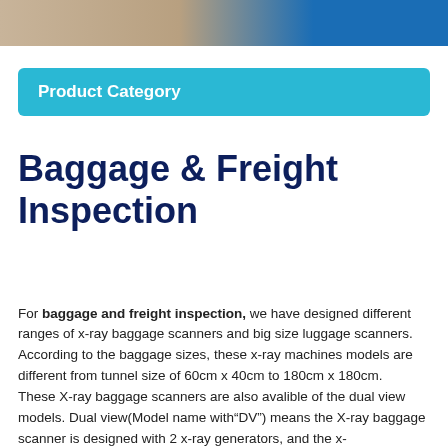[Figure (photo): A photo strip at the top of the page showing luggage/freight scanning equipment, tan/brown on the left and bright blue on the right.]
Product Category
Baggage & Freight Inspection
For baggage and freight inspection, we have designed different ranges of x-ray baggage scanners and big size luggage scanners. According to the baggage sizes, these x-ray machines models are different from tunnel size of 60cm x 40cm to 180cm x 180cm.
These X-ray baggage scanners are also avalible of the dual view models. Dual view(Model name with“DV”) means the X-ray baggage scanner is designed with 2 x-ray generators, and the x-